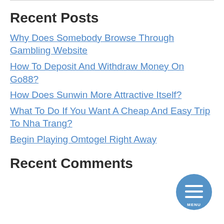Recent Posts
Why Does Somebody Browse Through Gambling Website
How To Deposit And Withdraw Money On Go88?
How Does Sunwin More Attractive Itself?
What To Do If You Want A Cheap And Easy Trip To Nha Trang?
Begin Playing Omtogel Right Away
Recent Comments